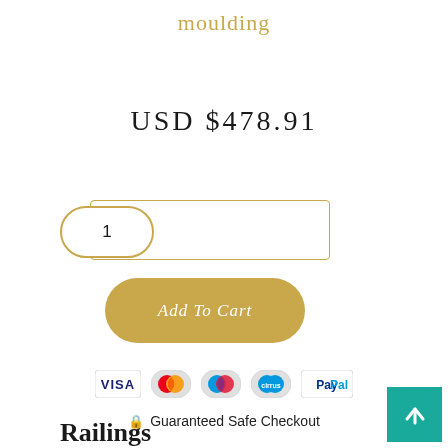moulding
USD $478.91
1
Add To Cart
[Figure (infographic): Payment method icons: VISA, Mastercard, Maestro, Cirrus, PayPal]
🔒 Guaranteed Safe Checkout
Railings